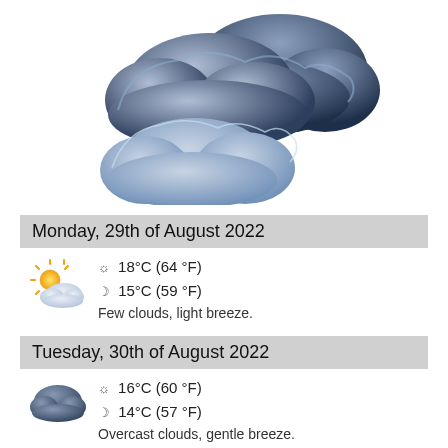[Figure (illustration): Two overlapping dark blue-grey storm clouds illustration on white background]
Monday, 29th of August 2022
[Figure (illustration): Partly cloudy with sun weather icon]
☼ 18°C (64 °F)
☽ 15°C (59 °F)
Few clouds, light breeze.
Tuesday, 30th of August 2022
[Figure (illustration): Cloudy/overcast weather icon — dark grey cloud]
☼ 16°C (60 °F)
☽ 14°C (57 °F)
Overcast clouds, gentle breeze.